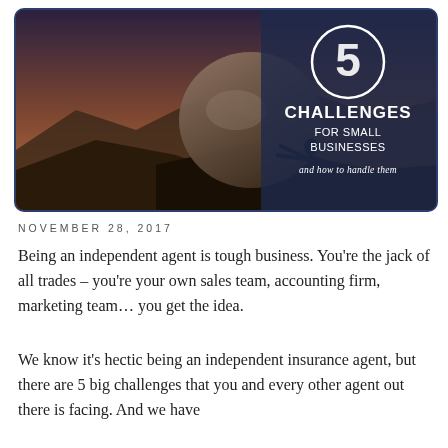[Figure (illustration): Hero image showing silhouette of a person pushing a large boulder uphill at sunset/dusk, with dark navy blue border and rounded corners. Overlaid text reads: '5' in a circle, 'CHALLENGES FOR SMALL BUSINESSES and how to handle them' in white and italic script.]
NOVEMBER 28, 2017
Being an independent agent is tough business. You're the jack of all trades – you're your own sales team, accounting firm, marketing team… you get the idea.
We know it's hectic being an independent insurance agent, but there are 5 big challenges that you and every other agent out there is facing. And we have